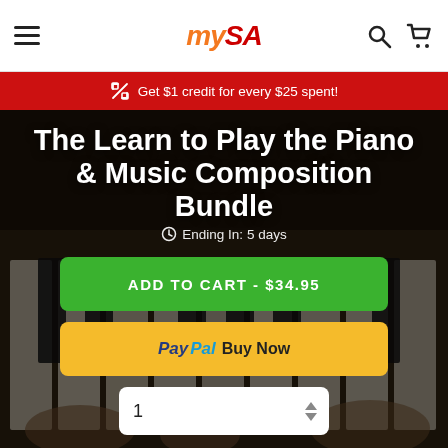mySA
Get $1 credit for every $25 spent!
[Figure (screenshot): Dark photo of hands playing piano keys used as hero background]
The Learn to Play the Piano & Music Composition Bundle
Ending In: 5 days
ADD TO CART - $34.95
PayPal Buy Now
1